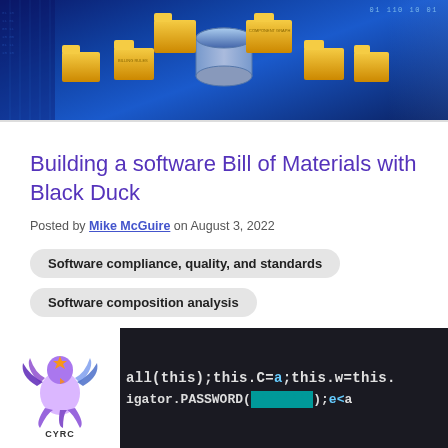[Figure (photo): Header image showing yellow file folders arranged in a circle around a central database cylinder, on a blue digital/tech background with binary code visible]
Building a software Bill of Materials with Black Duck
Posted by Mike McGuire on August 3, 2022
Software compliance, quality, and standards
Software composition analysis
[Figure (photo): Bottom image showing Black Duck logo (purple/blue bird) on white background on left, and dark screen with code text including 'all(this);this.C=a;this.w=this.' and 'igator.PASSWORD("******");e<a' on right]